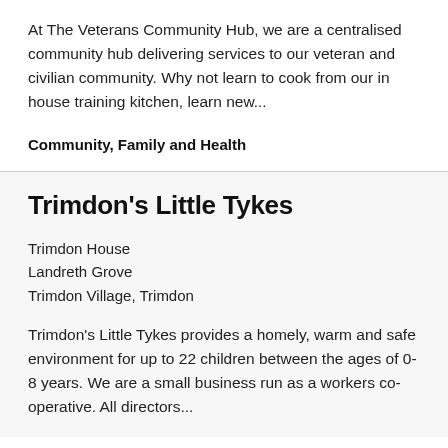At The Veterans Community Hub, we are a centralised community hub delivering services to our veteran and civilian community. Why not learn to cook from our in house training kitchen, learn new...
Community, Family and Health
Trimdon's Little Tykes
Trimdon House
Landreth Grove
Trimdon Village, Trimdon
Trimdon's Little Tykes provides a homely, warm and safe environment for up to 22 children between the ages of 0-8 years. We are a small business run as a workers co-operative. All directors...